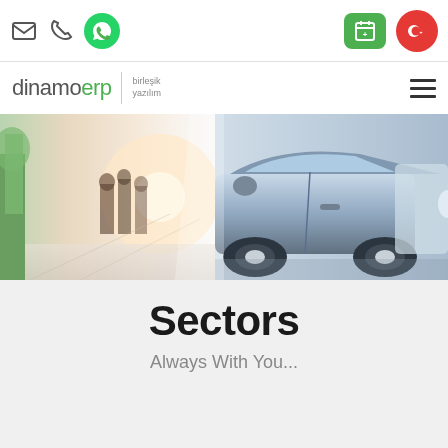[Figure (screenshot): Mobile app top toolbar with email, phone, WhatsApp, calendar, and Turkish flag icons]
[Figure (logo): dinamoerp birlesik yazilim logo with hamburger menu]
[Figure (photo): Hero banner showing blurred people in a showroom and close-up of cars]
Sectors
Always With You...
Tüm Sektörler ▼